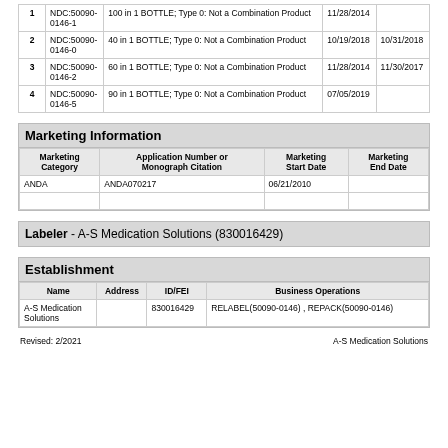|  | NDC | Package | Start Date | End Date |
| --- | --- | --- | --- | --- |
| 1 | NDC:50090-0146-1 | 100 in 1 BOTTLE; Type 0: Not a Combination Product | 11/28/2014 |  |
| 2 | NDC:50090-0146-0 | 40 in 1 BOTTLE; Type 0: Not a Combination Product | 10/19/2018 | 10/31/2018 |
| 3 | NDC:50090-0146-2 | 60 in 1 BOTTLE; Type 0: Not a Combination Product | 11/28/2014 | 11/30/2017 |
| 4 | NDC:50090-0146-5 | 90 in 1 BOTTLE; Type 0: Not a Combination Product | 07/05/2019 |  |
Marketing Information
| Marketing Category | Application Number or Monograph Citation | Marketing Start Date | Marketing End Date |
| --- | --- | --- | --- |
| ANDA | ANDA070217 | 06/21/2010 |  |
Labeler - A-S Medication Solutions (830016429)
Establishment
| Name | Address | ID/FEI | Business Operations |
| --- | --- | --- | --- |
| A-S Medication Solutions |  | 830016429 | RELABEL(50090-0146) , REPACK(50090-0146) |
Revised: 2/2021                    A-S Medication Solutions